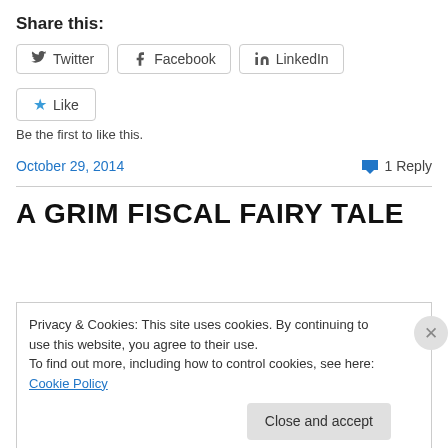Share this:
[Figure (screenshot): Social sharing buttons: Twitter, Facebook, LinkedIn]
[Figure (screenshot): Like button with star icon]
Be the first to like this.
October 29, 2014   1 Reply
A GRIM FISCAL FAIRY TALE
Privacy & Cookies: This site uses cookies. By continuing to use this website, you agree to their use. To find out more, including how to control cookies, see here: Cookie Policy
Close and accept